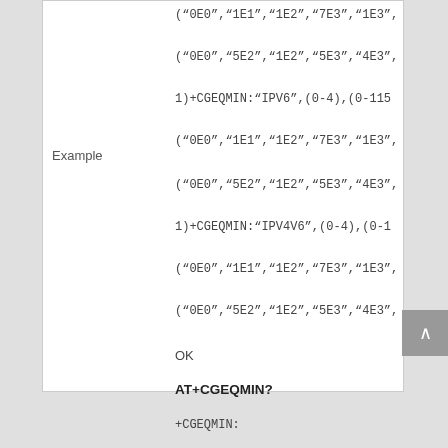("0E0","1E1","1E2","7E3","1E3",
("0E0","5E2","1E2","5E3","4E3",
1)+CGEQMIN:"IPV6",(0-4),(0-115
Example
("0E0","1E1","1E2","7E3","1E3",
("0E0","5E2","1E2","5E3","4E3",
1)+CGEQMIN:"IPV4V6",(0-4),(0-1
("0E0","1E1","1E2","7E3","1E3",
("0E0","5E2","1E2","5E3","4E3",
OK
AT+CGEQMIN?
+CGEQMIN:
OK